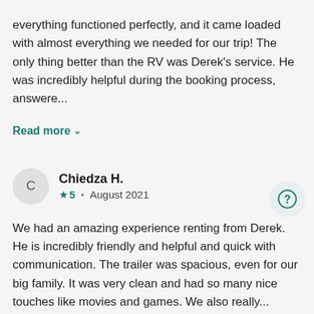everything functioned perfectly, and it came loaded with almost everything we needed for our trip! The only thing better than the RV was Derek's service. He was incredibly helpful during the booking process, answere...
Read more
Chiedza H.
★5 • August 2021
We had an amazing experience renting from Derek. He is incredibly friendly and helpful and quick with communication. The trailer was spacious, even for our big family. It was very clean and had so many nice touches like movies and games. We also really...
Read more